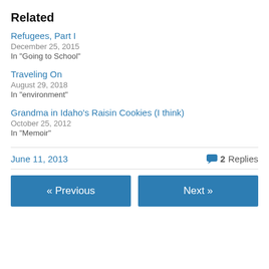Related
Refugees, Part I
December 25, 2015
In "Going to School"
Traveling On
August 29, 2018
In "environment"
Grandma in Idaho's Raisin Cookies (I think)
October 25, 2012
In "Memoir"
June 11, 2013   2 Replies
« Previous   Next »